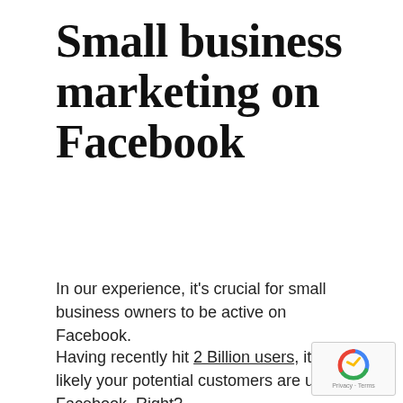Small business marketing on Facebook
In our experience, it's crucial for small business owners to be active on Facebook.
Having recently hit 2 Billion users, it's likely your potential customers are using Facebook. Right?
A couple of posts per week should be enough, your followers don't need